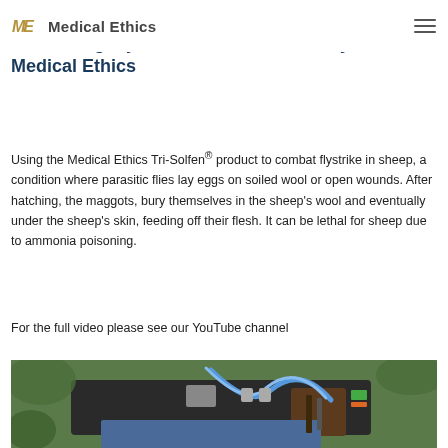ME Medical Ethics
Combating Flystrike with Tri-Solfen® by Medical Ethics
Using the Medical Ethics Tri-Solfen® product to combat flystrike in sheep, a condition where parasitic flies lay eggs on soiled wool or open wounds. After hatching, the maggots, bury themselves in the sheep's wool and eventually under the sheep's skin, feeding off their flesh. It can be lethal for sheep due to ammonia poisoning.
For the full video please see our YouTube channel
[Figure (photo): Close-up photo of a person's belt/waist area with leather holster and blue tubing equipment, with green foliage background — farm/veterinary equipment used for Tri-Solfen application]